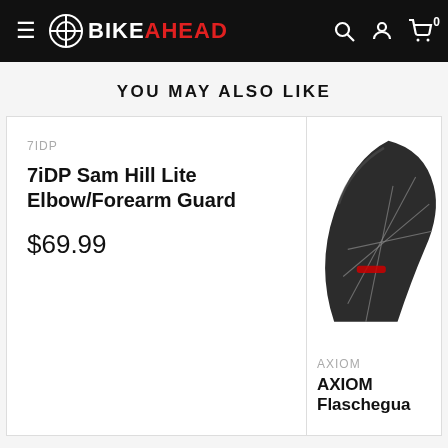BikeAhead navigation header
YOU MAY ALSO LIKE
7IDP
7iDP Sam Hill Lite Elbow/Forearm Guard
$69.99
[Figure (photo): Bicycle wheel/fender product photo on right side card]
AXIOM
AXIOM Flaschegua